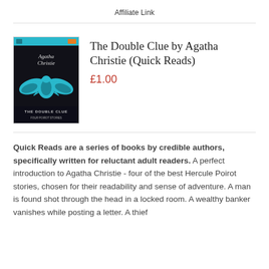Affiliate Link
[Figure (illustration): Book cover of 'The Double Clue' by Agatha Christie — dark background with Agatha Christie signature, a winged scarab beetle in teal/turquoise, and title text at bottom]
The Double Clue by Agatha Christie (Quick Reads)
£1.00
Quick Reads are a series of books by credible authors, specifically written for reluctant adult readers. A perfect introduction to Agatha Christie - four of the best Hercule Poirot stories, chosen for their readability and sense of adventure. A man is found shot through the head in a locked room. A wealthy banker vanishes while posting a letter. A thief